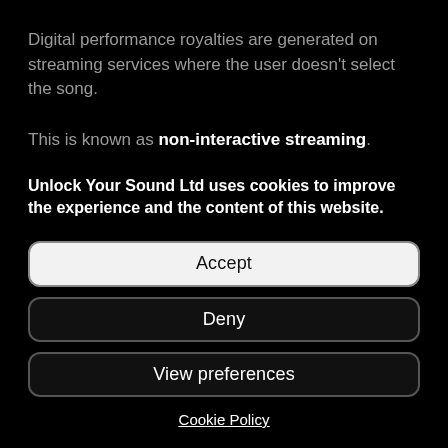Digital performance royalties are generated on streaming services where the user doesn't select the song.
This is known as non-interactive streaming.
Unlock Your Sound Ltd uses cookies to improve the experience and the content of this website.
Accept
Deny
View preferences
Cookie Policy